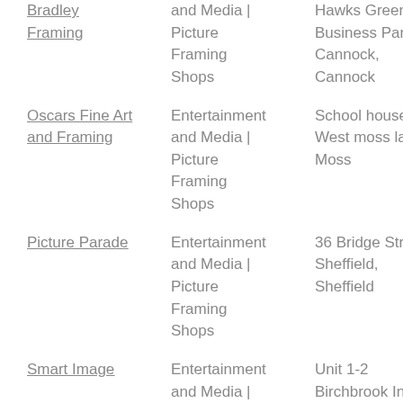| Name | Category | Address |
| --- | --- | --- |
| Bradley Framing | and Media | Picture Framing Shops | Hawks Green Business Park, Cannock, Cannock |
| Oscars Fine Art and Framing | Entertainment and Media | Picture Framing Shops | School house, West moss lane, Moss |
| Picture Parade | Entertainment and Media | Picture Framing Shops | 36 Bridge Street, Sheffield, Sheffield |
| Smart Image | Entertainment and Media | Picture Framing Shops | Unit 1-2 Birchbrook Ind. Park, Birchbrook |